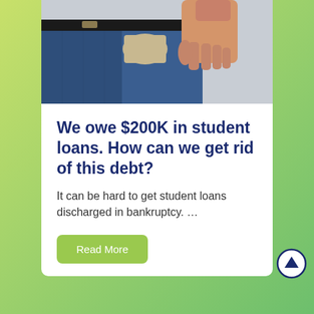[Figure (photo): Person pulling out an empty pocket from jeans, showing they have no money]
We owe $200K in student loans. How can we get rid of this debt?
It can be hard to get student loans discharged in bankruptcy. …
Read More